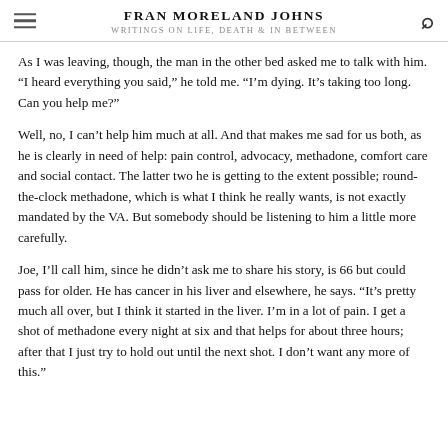FRAN MORELAND JOHNS
WRITINGS ON LIFE, DEATH & IN BETWEEN
As I was leaving, though, the man in the other bed asked me to talk with him. “I heard everything you said,” he told me. “I’m dying. It’s taking too long. Can you help me?”
Well, no, I can’t help him much at all. And that makes me sad for us both, as he is clearly in need of help: pain control, advocacy, methadone, comfort care and social contact. The latter two he is getting to the extent possible; round-the-clock methadone, which is what I think he really wants, is not exactly mandated by the VA. But somebody should be listening to him a little more carefully.
Joe, I’ll call him, since he didn’t ask me to share his story, is 66 but could pass for older. He has cancer in his liver and elsewhere, he says. “It’s pretty much all over, but I think it started in the liver. I’m in a lot of pain. I get a shot of methadone every night at six and that helps for about three hours; after that I just try to hold out until the next shot. I don’t want any more of this.”